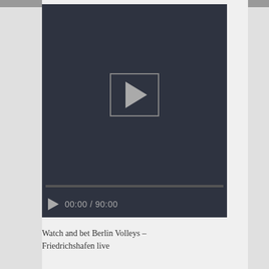[Figure (screenshot): A video player with dark background showing a play button icon in the center, a progress bar at the bottom, and video controls showing '00:00 / 90:00']
Watch and bet Berlin Volleys – Friedrichshafen live